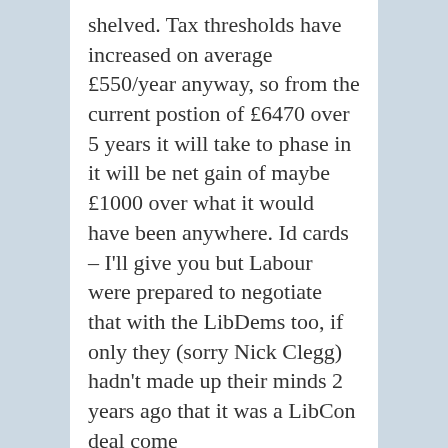shelved. Tax thresholds have increased on average £550/year anyway, so from the current postion of £6470 over 5 years it will take to phase in it will be net gain of maybe £1000 over what it would have been anywhere. Id cards – I'll give you but Labour were prepared to negotiate that with the LibDems too, if only they (sorry Nick Clegg) hadn't made up their minds 2 years ago that it was a LibCon deal come